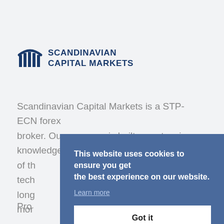[Figure (logo): Scandinavian Capital Markets logo with stylized blue arch/pillar icon and text 'SCANDINAVIAN CAPITAL MARKETS']
Scandinavian Capital Markets is a STP-ECN forex broker. Our company is built on extensive knowledge of th... tech... long... mor...
This website uses cookies to ensure you get the best experience on our website.
Learn more
Got it
Pro...